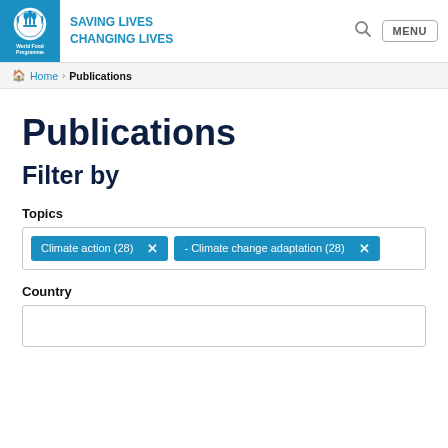[Figure (logo): World Food Programme logo - blue box with WFP emblem and text 'World Food Programme', tagline 'SAVING LIVES CHANGING LIVES']
Home › Publications
Publications
Filter by
Topics
Climate action (28) ×  - Climate change adaptation (28) ×
Country